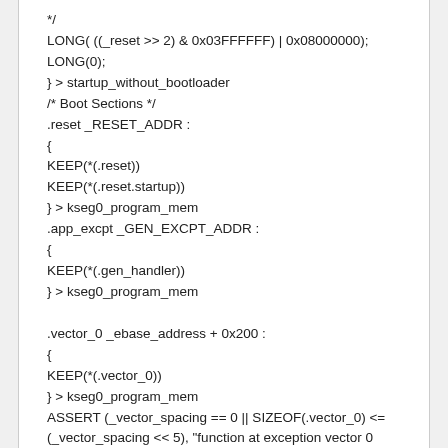*/
LONG( ((_reset >> 2) & 0x03FFFFFF) | 0x08000000);
LONG(0);
} > startup_without_bootloader
/* Boot Sections */
.reset _RESET_ADDR :
{
KEEP(*(.reset))
KEEP(*(.reset.startup))
} > kseg0_program_mem
.app_excpt _GEN_EXCPT_ADDR :
{
KEEP(*(.gen_handler))
} > kseg0_program_mem

.vector_0 _ebase_address + 0x200 :
{
KEEP(*(.vector_0))
} > kseg0_program_mem
ASSERT (_vector_spacing == 0 || SIZEOF(.vector_0) <=
(_vector_spacing << 5), "function at exception vector 0
too large")